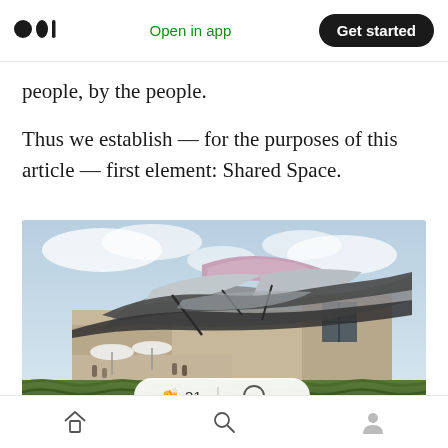Medium app header — Open in app | Get started
people, by the people.
Thus we establish — for the purposes of this article — first element: Shared Space.
[Figure (photo): Photograph of a modern building with dramatic metallic sculptural roof elements, resembling Frank Gehry architecture, surrounded by vineyards and outdoor seating area under umbrellas with a cloudy sky background. An interaction bar showing 31 claps and a comment icon is overlaid on the image.]
Bottom navigation bar with home, search, and profile icons